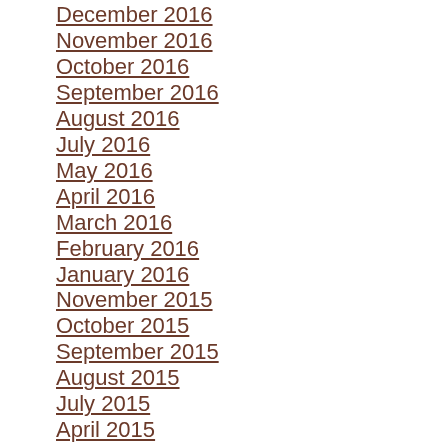December 2016
November 2016
October 2016
September 2016
August 2016
July 2016
May 2016
April 2016
March 2016
February 2016
January 2016
November 2015
October 2015
September 2015
August 2015
July 2015
April 2015
January 2015
December 2014